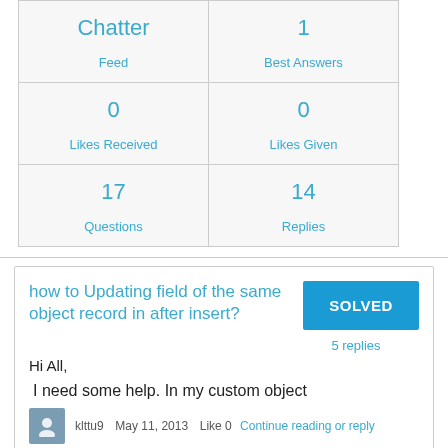| Chatter Feed | 1 Best Answers |
| --- | --- |
| 0 Likes Received | 0 Likes Given |
| 17 Questions | 14 Replies |
how to Updating field of the same object record in after insert?
Hi All,
I need some help. In my custom object
klttu9  May 11, 2013  Like 0  Continue reading or reply